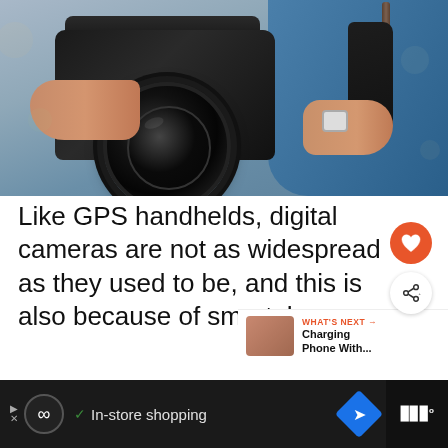[Figure (photo): Person holding a DSLR camera with a large lens, wearing a blue denim shirt and a white watch bracelet, photographed from chest level]
Like GPS handhelds, digital cameras are not as widespread as they used to be, and this is also because of smartphones.
WHAT'S NEXT → Charging Phone With...
In-store shopping